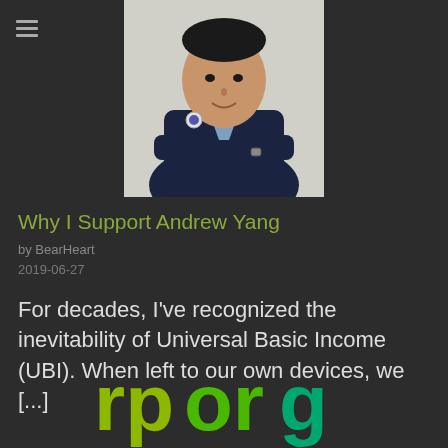[Figure (photo): Portrait photo of Andrew Yang in a dark navy suit with arms crossed, wearing a campaign button, light blue shirt]
Why I Support Andrew Yang
by BearHeart
2019-06-27
For decades, I've recognized the inevitability of Universal Basic Income (UBI). When left to our own devices, we [...]
[Figure (logo): Partial logo text reading 'rporg' in gradient green colors]